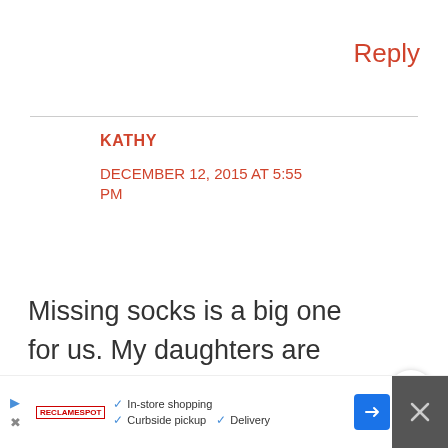Reply
KATHY
DECEMBER 12, 2015 AT 5:55 PM
Missing socks is a big one for us. My daughters are always missing socks. When I do laundry we always seem to be missing a
In-store shopping  Curbside pickup  Delivery